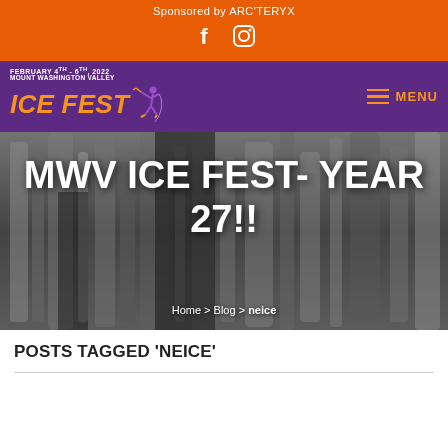Sponsored by ARC'TERYX
[Figure (logo): Social media icons: Facebook and Instagram in white on orange background]
[Figure (logo): MWV Ice Fest logo with climber figure, purple background. Text: FEBRUARY 4TH - 6TH, 2022 / MOUNT WASHINGTON VALLEY / ICE FEST. Menu hamburger icon with MENU text in orange.]
[Figure (photo): Black and white hero image of ice formations/frozen waterfall with overlaid white bold text: MWV ICE FEST- YEAR 27!! and breadcrumb: Home > Blog > neice]
POSTS TAGGED 'NEICE'